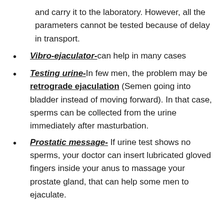and carry it to the laboratory. However, all the parameters cannot be tested because of delay in transport.
Vibro-ejaculator- can help in many cases
Testing urine- In few men, the problem may be retrograde ejaculation (Semen going into bladder instead of moving forward). In that case, sperms can be collected from the urine immediately after masturbation.
Prostatic message- If urine test shows no sperms, your doctor can insert lubricated gloved fingers inside your anus to massage your prostate gland, that can help some men to ejaculate.